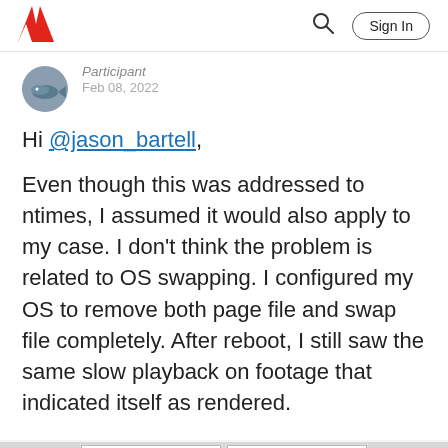Adobe | Sign In
Participant
Feb 08, 2022
Hi @jason_bartell,
Even though this was addressed to ntimes, I assumed it would also apply to my case. I don't think the problem is related to OS swapping. I configured my OS to remove both page file and swap file completely. After reboot, I still saw the same slow playback on footage that indicated itself as rendered.
[Figure (screenshot): Partial screenshot of software interface, cropped at bottom of page.]